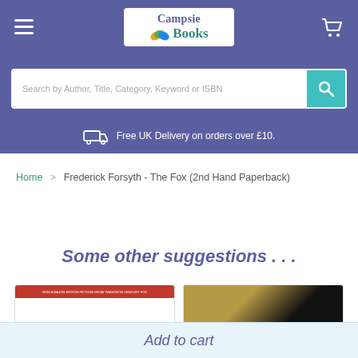[Figure (logo): Campsie Books logo with colourful book pages icon]
Search by Author, Title, Category, Keyword or ISBN
Free UK Delivery on orders over £10.
Home > Frederick Forsyth - The Fox (2nd Hand Paperback)
Some other suggestions . . .
[Figure (photo): Book cover with red band at top reading NOW A MAJOR MOTION PICTURE FROM TWENTIETH CENTURY FOX]
[Figure (photo): Book cover with black and gold design]
Add to cart